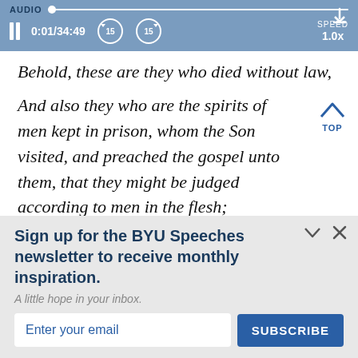[Figure (screenshot): Audio player bar with label AUDIO, progress bar with dot, playback time 0:01/34:49, skip back 15s and skip forward 15s buttons, SPEED 1.0x, and download icon]
Behold, these are they who died without law,
And also they who are the spirits of men kept in prison, whom the Son visited, and preached the gospel unto them, that they might be judged according to men in the flesh;
Sign up for the BYU Speeches newsletter to receive monthly inspiration.
A little hope in your inbox.
Enter your email
SUBSCRIBE